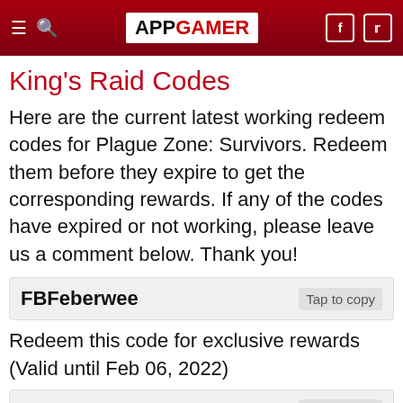APP GAMER
King's Raid Codes
Here are the current latest working redeem codes for Plague Zone: Survivors. Redeem them before they expire to get the corresponding rewards. If any of the codes have expired or not working, please leave us a comment below. Thank you!
| Code | Action |
| --- | --- |
| FBFeberwee | Tap to copy |
Redeem this code for exclusive rewards (Valid until Feb 06, 2022)
| Code | Action |
| --- | --- |
| FBFeberasd | Tap to copy |